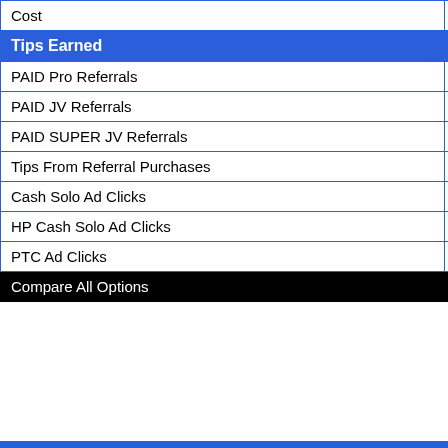|  | Cost | Tips Earned | PAID Pro Referrals | PAID JV Referrals | PAID SUPER JV Referrals | Tips From Referral Purchases | Cash Solo Ad Clicks | HP Cash Solo Ad Clicks | PTC Ad Clicks | Compare All Options |
| --- | --- | --- | --- | --- | --- | --- | --- | --- | --- | --- |
| Cost | FRE... |
| Tips Earned (bold header) | PRO... |
| PAID Pro Referrals | $0 |
| PAID JV Referrals | $0 |
| PAID SUPER JV Referrals | $1.5... |
| Tips From Referral Purchases | 10% |
| Cash Solo Ad Clicks | $.00... |
| HP Cash Solo Ad Clicks | $.00... |
| PTC Ad Clicks | $0.0... |
| Compare All Options |  |
Tips are paid on personal referrals for 1 t... make any purchase in order to receive Tip...
Copyright © Jan 4 2021 - 2... We will never sell, tra...
This website uses cookies to ensure you get the best experience on our website. Learn More
Terms and Conditions
Powerd By R...